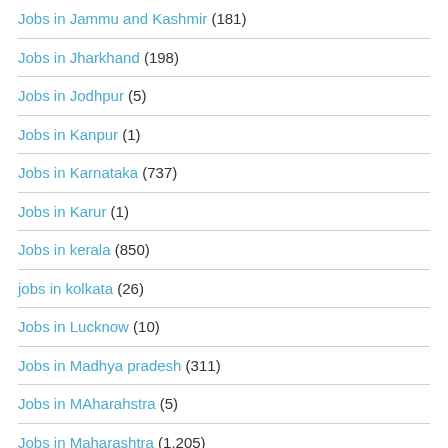Jobs in Jammu and Kashmir (181)
Jobs in Jharkhand (198)
Jobs in Jodhpur (5)
Jobs in Kanpur (1)
Jobs in Karnataka (737)
Jobs in Karur (1)
Jobs in kerala (850)
jobs in kolkata (26)
Jobs in Lucknow (10)
Jobs in Madhya pradesh (311)
Jobs in MAharahstra (5)
Jobs in Maharashtra (1,205)